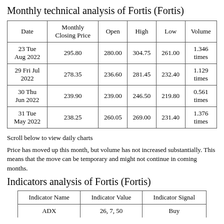Monthly technical analysis of Fortis (Fortis)
| Date | Monthly Closing Price | Open | High | Low | Volume |
| --- | --- | --- | --- | --- | --- |
| 23 Tue Aug 2022 | 295.80 | 280.00 | 304.75 | 261.00 | 1.346 times |
| 29 Fri Jul 2022 | 278.35 | 236.60 | 281.45 | 232.40 | 1.129 times |
| 30 Thu Jun 2022 | 239.90 | 239.00 | 246.50 | 219.80 | 0.561 times |
| 31 Tue May 2022 | 238.25 | 260.05 | 269.00 | 231.40 | 1.376 times |
Scroll below to view daily charts
Price has moved up this month, but volume has not increased substantially. This means that the move can be temporary and might not continue in coming months.
Indicators analysis of Fortis (Fortis)
| Indicator Name | Indicator Value | Indicator Signal |
| --- | --- | --- |
| ADX | 26, 7, 50 | Buy |